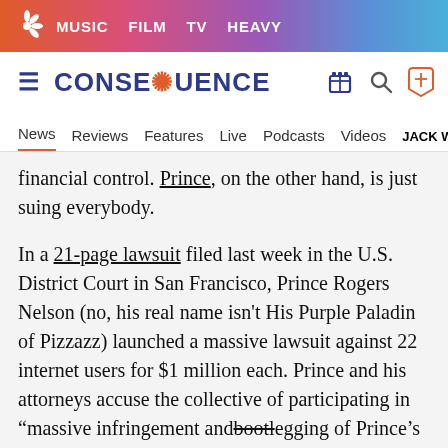MUSIC  FILM  TV  HEAVY
CONSEQUENCE
News  Reviews  Features  Live  Podcasts  Videos  JACK WH
financial control. Prince, on the other hand, is just suing everybody.
In a 21-page lawsuit filed last week in the U.S. District Court in San Francisco, Prince Rogers Nelson (no, his real name isn't His Purple Paladin of Pizzazz) launched a massive lawsuit against 22 internet users for $1 million each. Prince and his attorneys accuse the collective of participating in “massive infringement and bootlegging of Prince’s material.” While most of the 22 individuals are anoymous, the claim does specifically